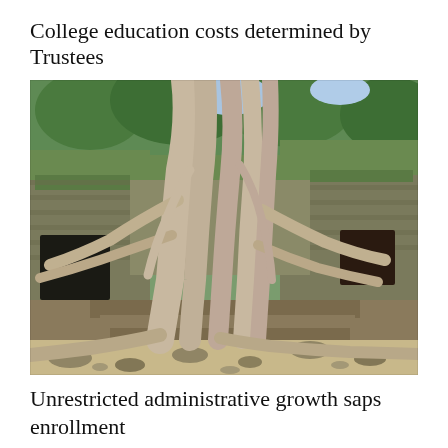College education costs determined by Trustees
[Figure (photo): Ancient moss-covered stone temple ruins with large tree roots growing over and through the structure, resembling Angkor Wat / Ta Prohm temple in Cambodia. The tree has massive, pale roots spreading down over the crumbling stone walls. The ruins feature dark doorways and arched openings. Scattered stone blocks lie on the sandy ground.]
Unrestricted administrative growth saps enrollment